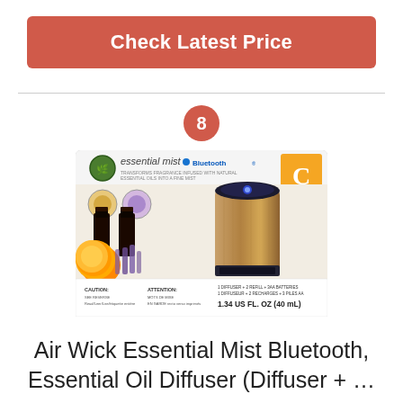Check Latest Price
8
[Figure (photo): Air Wick Essential Mist Bluetooth product package showing diffuser unit with wood grain finish, two oil refill bottles, orange fruit and lavender flowers, Smart canister badge, and Bluetooth logo. Package reads: essential mist Bluetooth, CAUTION, ATTENTION, 1.34 US FL. OZ (40 mL)]
Air Wick Essential Mist Bluetooth, Essential Oil Diffuser (Diffuser + …